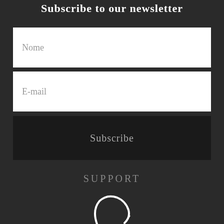Subscribe to our newsletter
Nome
E-mail
Subscribe
SUPPORT
[Figure (logo): Partial circular logo/icon in white at the bottom of the page]